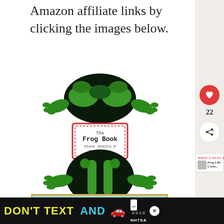Amazon affiliate links by clicking the images below.
[Figure (photo): The Frog Book by Steve Jenkins & Robin Page - book cover showing green frog illustration top and bottom with title label in middle]
[Figure (photo): The Lucky Green Frog book cover showing large green illustrated text with cartoon frog]
[Figure (screenshot): NHTSA Don't Text and Drive advertisement banner with yellow and cyan text on black background with red car emoji, ad badge and NHTSA logo]
[Figure (other): Right sidebar showing heart/like button (red circle), like count 22, share button, and What's Next panel showing Frog Life Cycle...]